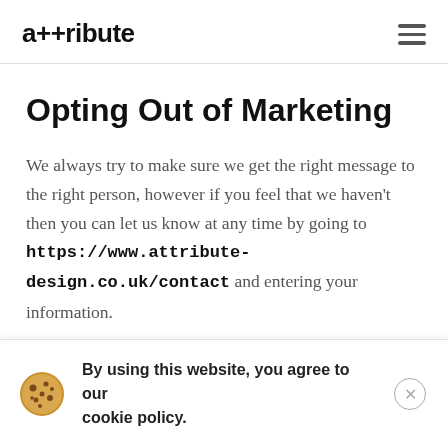a++ribute
Opting Out of Marketing
We always try to make sure we get the right message to the right person, however if you feel that we haven't then you can let us know at any time by going to https://www.attribute-design.co.uk/contact and entering your information.
By completing this form and informing us you wish to unsubscribe, we will remove your information from our marketing database. We'll do this by adding your
We may need to keep some details relating to order
By using this website, you agree to our cookie policy.